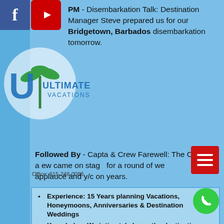[Figure (logo): Facebook icon - blue square with white f]
[Figure (logo): YouTube icon - red square with white play button]
PM - Disembarkation Talk: Destination Manager Steve prepared us for our Bridgetown, Barbados disembarkation tomorrow.
Followed By - Captain & Crew Farewell: The Captain and crew came on stage for a round of well-deserved applause and a/c on an yes.
7:00 PM - Dinner: Dinner is served in Astrophora and Candles (reservations required).
9:00 PM - Live Music: in Compass Rose.
9:00 PM - Live music in the Star B until ...
PRIN... E DAY: Rain Killer
[Figure (logo): Ultimate Vacations logo - circular logo with palm tree]
Office: 615-248-0088
Experience: 15 Years planning Vacations, Honeymoons, Anniversaries & Destination Weddings
Knowledge: We intimately know the destinations, resorts and cruises we recommend
Backed by industry leaders like Funjet Vacations, Karisma Resorts and others
No fees. Seriously!
Deposit for as little as $50 person / Payment Plans available